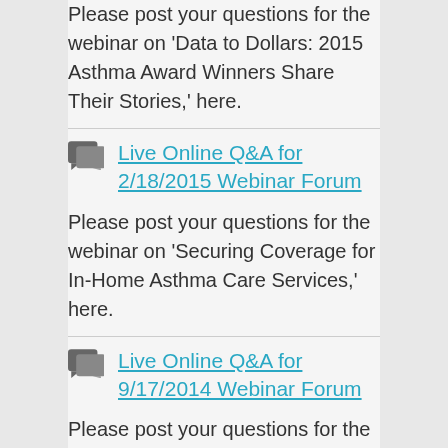Please post your questions for the webinar on 'Data to Dollars: 2015 Asthma Award Winners Share Their Stories,' here.
Live Online Q&A for 2/18/2015 Webinar Forum
Please post your questions for the webinar on 'Securing Coverage for In-Home Asthma Care Services,' here.
Live Online Q&A for 9/17/2014 Webinar Forum
Please post your questions for the webinar on 'Increasing CHW Impact by Partnering with Weatherization/Healthy Homes,' here.
Live Online Q&A for 5/20/2014 Webinar Forum